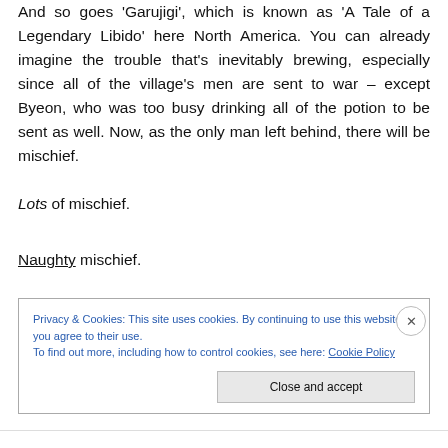And so goes 'Garujigi', which is known as 'A Tale of a Legendary Libido' here North America. You can already imagine the trouble that's inevitably brewing, especially since all of the village's men are sent to war – except Byeon, who was too busy drinking all of the potion to be sent as well. Now, as the only man left behind, there will be mischief.
Lots of mischief.
Naughty mischief.
Privacy & Cookies: This site uses cookies. By continuing to use this website, you agree to their use.
To find out more, including how to control cookies, see here: Cookie Policy